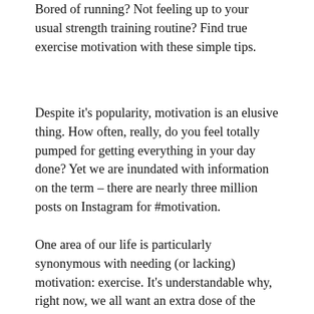Bored of running? Not feeling up to your usual strength training routine? Find true exercise motivation with these simple tips.
Despite it's popularity, motivation is an elusive thing. How often, really, do you feel totally pumped for getting everything in your day done? Yet we are inundated with information on the term – there are nearly three million posts on Instagram for #motivation.
One area of our life is particularly synonymous with needing (or lacking) motivation: exercise. It's understandable why, right now, we all want an extra dose of the good stuff. After all, we only got our gyms back a few months ago, the